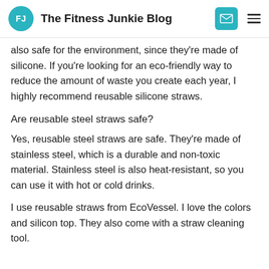The Fitness Junkie Blog
also safe for the environment, since they're made of silicone. If you're looking for an eco-friendly way to reduce the amount of waste you create each year, I highly recommend reusable silicone straws.
Are reusable steel straws safe?
Yes, reusable steel straws are safe. They're made of stainless steel, which is a durable and non-toxic material. Stainless steel is also heat-resistant, so you can use it with hot or cold drinks.
I use reusable straws from EcoVessel. I love the colors and silicon top. They also come with a straw cleaning tool.